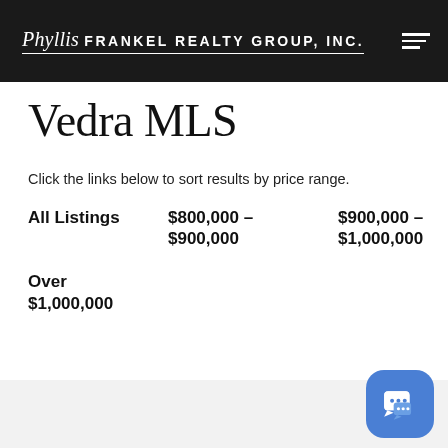Phyllis Frankel Realty Group, Inc.
Vedra MLS
Click the links below to sort results by price range.
All Listings
$800,000 – $900,000
$900,000 – $1,000,000
Over $1,000,000